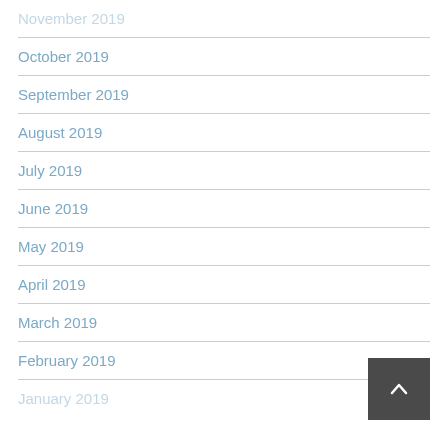November 2019
October 2019
September 2019
August 2019
July 2019
June 2019
May 2019
April 2019
March 2019
February 2019
January 2019